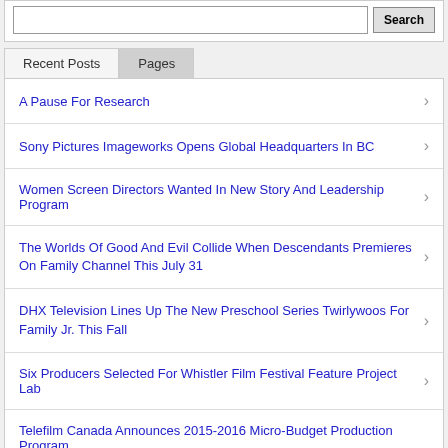Recent Posts
Pages
A Pause For Research
Sony Pictures Imageworks Opens Global Headquarters In BC
Women Screen Directors Wanted In New Story And Leadership Program
The Worlds Of Good And Evil Collide When Descendants Premieres On Family Channel This July 31
DHX Television Lines Up The New Preschool Series Twirlywoos For Family Jr. This Fall
Six Producers Selected For Whistler Film Festival Feature Project Lab
Telefilm Canada Announces 2015-2016 Micro-Budget Production Program